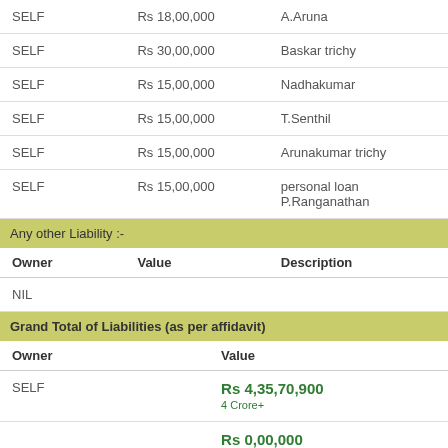| Owner | Value | Description |
| --- | --- | --- |
| SELF | Rs 18,00,000 | A.Aruna |
| SELF | Rs 30,00,000 | Baskar trichy |
| SELF | Rs 15,00,000 | Nadhakumar |
| SELF | Rs 15,00,000 | T.Senthil |
| SELF | Rs 15,00,000 | Arunakumar trichy |
| SELF | Rs 15,00,000 | personal loan P.Ranganathan |
Any other Liability :-
| Owner | Value | Description |
| --- | --- | --- |
| NIL |  |  |
Grand Total of Liabilities (as per affidavit)
| Owner | Value |
| --- | --- |
| SELF | Rs 4,35,70,900
4 Crore+ |
|  | Rs 0,00,000 |